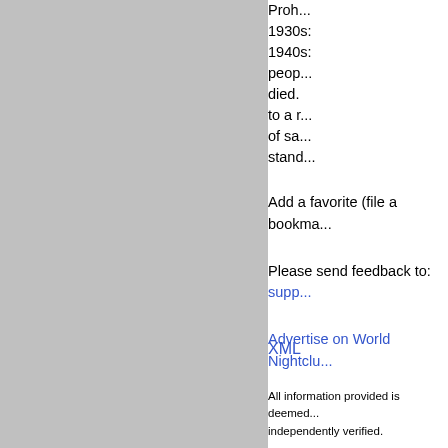[Figure (photo): Large gray rectangular image panel on the left side of the page]
Proh... 1930s: 1940s: people died. to a r of sa stand.
Add a favorite (file a bookma
Please send feedback to: supp
Advertise on World Nightclu
XML
All information provided is deemed independently verified.
Copyright © CNT Group; 2000